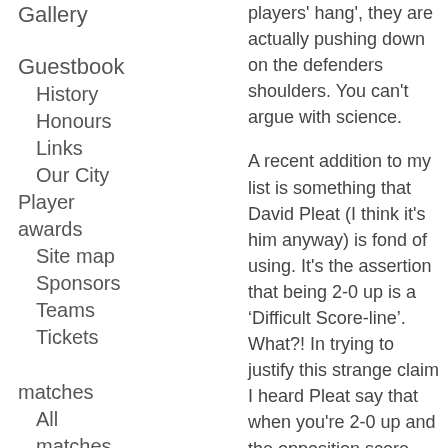Gallery
Guestbook
History
Honours
Links
Our City
Player awards
Site map
Sponsors
Teams
Tickets
matches
All matches
Fixtures
players' hang', they are actually pushing down on the defenders shoulders. You can't argue with science.
A recent addition to my list is something that David Pleat (I think it's him anyway) is fond of using. It's the assertion that being 2-0 up is a ‘Difficult Score-line’. What?! In trying to justify this strange claim I heard Pleat say that when you're 2-0 up and the opposition score you're then only one ahead and that means that if they